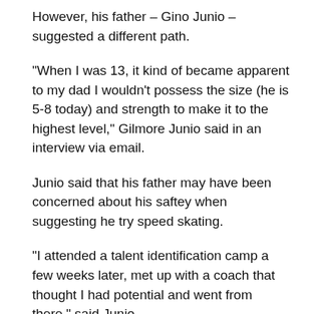However, his father – Gino Junio – suggested a different path.
“When I was 13, it kind of became apparent to my dad I wouldn’t possess the size (he is 5-8 today) and strength to make it to the highest level,” Gilmore Junio said in an interview via email.
Junio said that his father may have been concerned about his saftey when suggesting he try speed skating.
“I attended a talent identification camp a few weeks later, met up with a coach that thought I had potential and went from there,” said Junio.